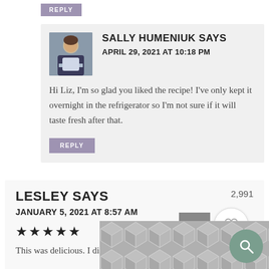REPLY
SALLY HUMENIUK SAYS
APRIL 29, 2021 AT 10:18 PM
Hi Liz, I'm so glad you liked the recipe! I've only kept it overnight in the refrigerator so I'm not sure if it will taste fresh after that.
REPLY
LESLEY SAYS
JANUARY 5, 2021 AT 8:57 AM
2,991
★★★★★
This was delicious. I didn't have a lemon, so I used an orang